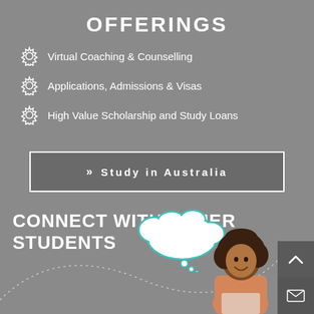OFFERINGS
Virtual Coaching & Counselling
Applications, Admissions & Visas
High Value Scholarship and Study Loans
» Study in Australia
CONNECT WITH OTHER STUDENTS
[Figure (illustration): Woman with afro hairstyle smiling, with a white thought bubble above her head with teal outline. Dotted arc line in the background.]